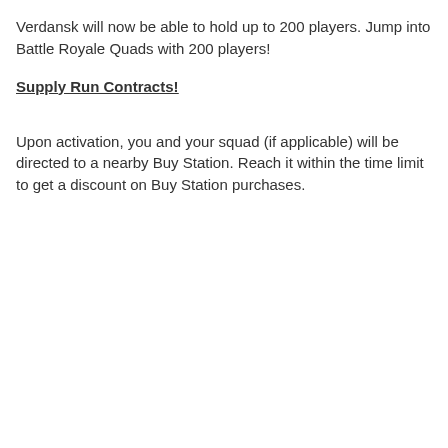Verdansk will now be able to hold up to 200 players. Jump into Battle Royale Quads with 200 players!
Supply Run Contracts!
Upon activation, you and your squad (if applicable) will be directed to a nearby Buy Station. Reach it within the time limit to get a discount on Buy Station purchases.